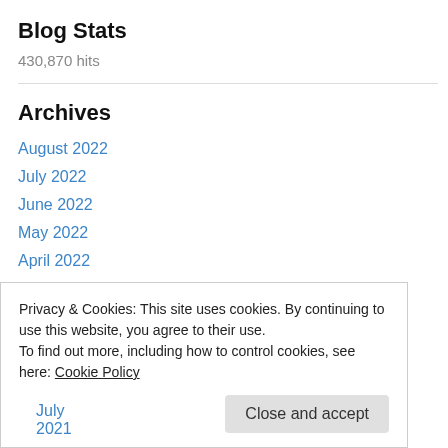Blog Stats
430,870 hits
Archives
August 2022
July 2022
June 2022
May 2022
April 2022
March 2022
February 2022
Privacy & Cookies: This site uses cookies. By continuing to use this website, you agree to their use. To find out more, including how to control cookies, see here: Cookie Policy
Close and accept
July 2021